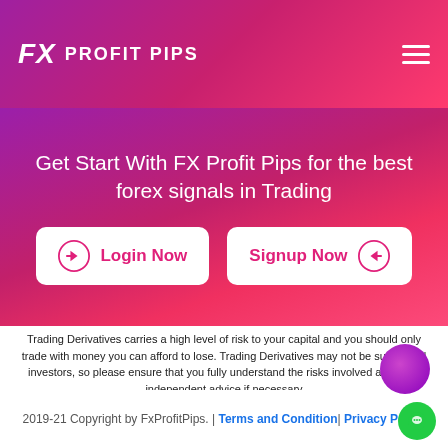FX PROFIT PIPS
Get Start With FX Profit Pips for the best forex signals in Trading
Login Now
Signup Now
Trading Derivatives carries a high level of risk to your capital and you should only trade with money you can afford to lose. Trading Derivatives may not be suitable all investors, so please ensure that you fully understand the risks involved and seek independent advice if necessary
2019-21 Copyright by FxProfitPips. | Terms and Condition| Privacy Policy